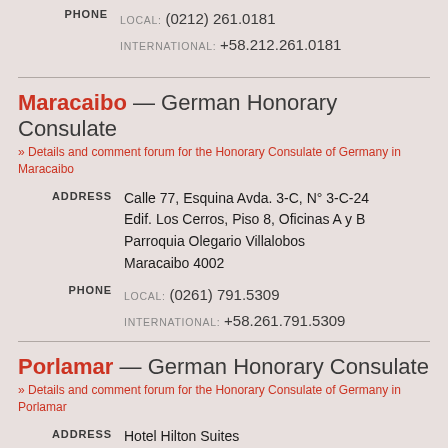PHONE LOCAL: (0212) 261.0181 INTERNATIONAL: +58.212.261.0181
Maracaibo — German Honorary Consulate
» Details and comment forum for the Honorary Consulate of Germany in Maracaibo
ADDRESS: Calle 77, Esquina Avda. 3-C, N° 3-C-24 Edif. Los Cerros, Piso 8, Oficinas A y B Parroquia Olegario Villalobos Maracaibo 4002
PHONE LOCAL: (0261) 791.5309 INTERNATIONAL: +58.261.791.5309
Porlamar — German Honorary Consulate
» Details and comment forum for the Honorary Consulate of Germany in Porlamar
ADDRESS: Hotel Hilton Suites Calle Los Uveros, Urb. Costa Azul Porlamar Edo. Nueva Esparta